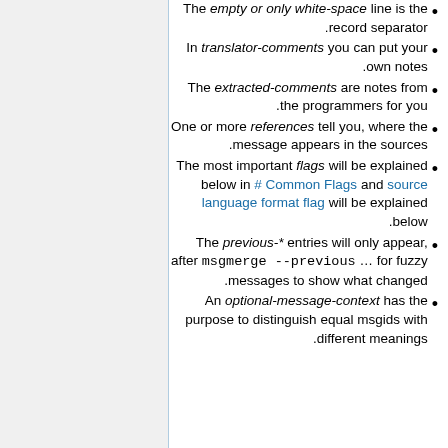The empty or only white-space line is the record separator.
In translator-comments you can put your own notes.
The extracted-comments are notes from the programmers for you.
One or more references tell you, where the message appears in the sources.
The most important flags will be explained below in # Common Flags and source language format flag will be explained below.
The previous-* entries will only appear, after msgmerge --previous … for fuzzy messages to show what changed.
An optional-message-context has the purpose to distinguish equal msgids with different meanings.